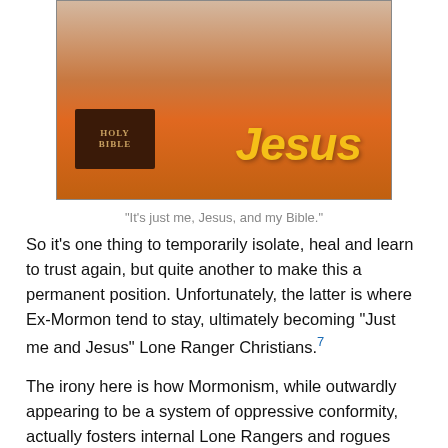[Figure (photo): Person wearing an orange 'Jesus' t-shirt holding a Holy Bible]
“It’s just me, Jesus, and my Bible.”
So it’s one thing to temporarily isolate, heal and learn to trust again, but quite another to make this a permanent position. Unfortunately, the latter is where Ex-Mormon tend to stay, ultimately becoming “Just me and Jesus” Lone Ranger Christians.7
The irony here is how Mormonism, while outwardly appearing to be a system of oppressive conformity, actually fosters internal Lone Rangers and rogues within its ranks. This is done via the “magic” of Mormon passive